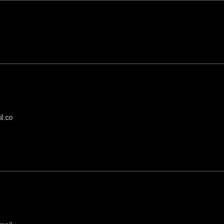| Name | Email |
| --- | --- |
|  |  |
| Ayna | lizzzard16@gmail.com |
| AynIlial | starshyn99@hotmail.com |
| Ayoka | Holla_fae@yahoo.com |
| Ayries | Bainalfirin50@yahoo.com |
| Ayumi | carola_s.95@t-online... |